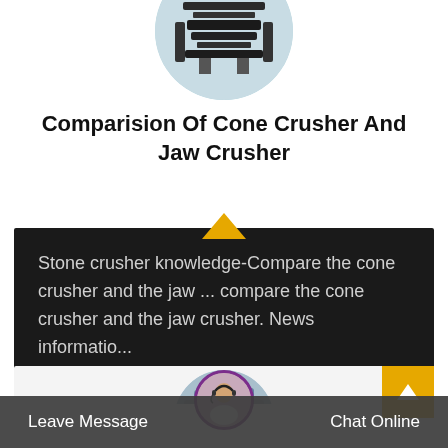[Figure (photo): Circular cropped photo of industrial crusher equipment, dark metal frame on light floor]
Comparision Of Cone Crusher And Jaw Crusher
Stone crusher knowledge-Compare the cone crusher and the jaw ... compare the cone crusher and the jaw crusher. News informatio...
[Figure (photo): Circular cropped photo of industrial facility with silos and equipment, partially visible]
[Figure (photo): Small circular avatar photo of a woman with a headset, customer service representative]
Leave Message
Chat Online